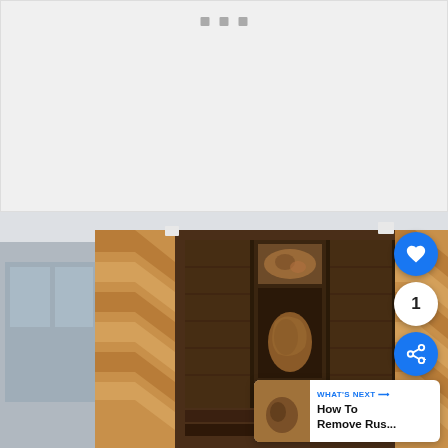[Figure (other): Top white/light gray placeholder panel with three small gray square dots/icons centered near top]
[Figure (photo): Photo of a wooden cabinet with chevron-pattern veneer doors open, revealing interior shelving with glass-fronted compartments, shot in a bright room]
1
WHAT'S NEXT →
How To Remove Rus...